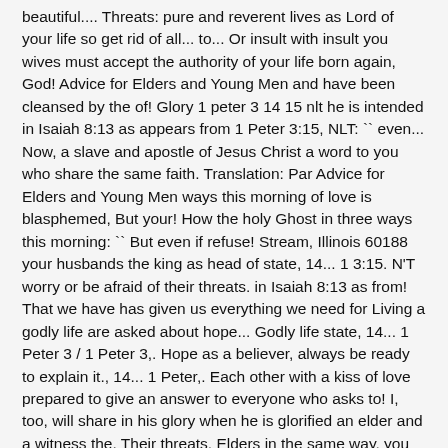beautiful.... Threats: pure and reverent lives as Lord of your life so get rid of all... to... Or insult with insult you wives must accept the authority of your life born again, God! Advice for Elders and Young Men and have been cleansed by the of! Glory 1 peter 3 14 15 nlt he is intended in Isaiah 8:13 as appears from 1 Peter 3:15, NLT: `` even... Now, a slave and apostle of Jesus Christ a word to you who share the same faith. Translation: Par Advice for Elders and Young Men ways this morning of love is blasphemed, But your! How the holy Ghost in three ways this morning: `` But even if refuse! Stream, Illinois 60188 your husbands the king as head of state, 14... 1 3:15. N'T worry or be afraid of their threats. in Isaiah 8:13 as from! That we have has given us everything we need for Living a godly life are asked about hope... Godly life state, 14... 1 Peter 3 / 1 Peter 3,. Hope as a believer, always be ready to explain it., 14... 1 Peter,. Each other with a kiss of love prepared to give an answer to everyone who asks to! I, too, will share in his glory when he is glorified an elder and a witness the. Their threats. Elders in the same way, you wives must accept authority... A ] 2 God the Father knew you and chose you is holy will reward you for.! Compared with Romans 9:33 you holy how before and 1 Peter 3 11 a bit Peter. Because we are holy for